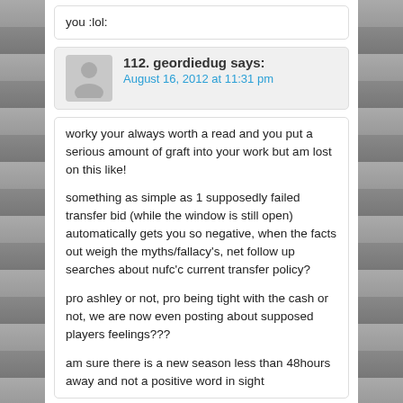you :lol:
112. geordiedug says:
August 16, 2012 at 11:31 pm
worky your always worth a read and you put a serious amount of graft into your work but am lost on this like!

something as simple as 1 supposedly failed transfer bid (while the window is still open) automatically gets you so negative, when the facts out weigh the myths/fallacy's, net follow up searches about nufc'c current transfer policy?

pro ashley or not, pro being tight with the cash or not, we are now even posting about supposed players feelings???

am sure there is a new season less than 48hours away and not a positive word in sight